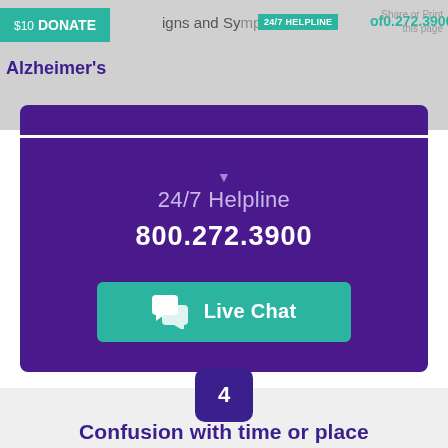$10 DONATE Signs and Symptoms of Alzheimer's 24/7 HELPLINE 800.272.3900 Share or Print this page
[Figure (infographic): Dark purple box with '24/7 Helpline' label, phone number '800.272.3900', and a teal 'Live Chat' button with chat bubble icon]
[Figure (infographic): Dark purple rounded square badge with the number 4]
Confusion with time or place